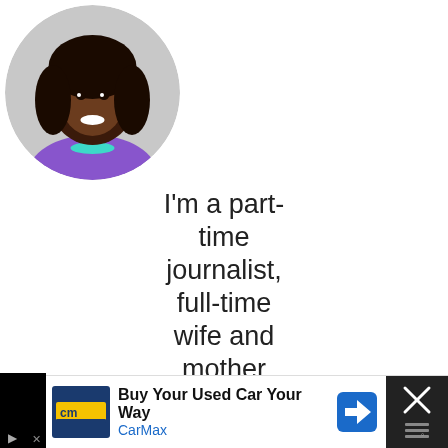[Figure (photo): Circular profile photo of a smiling woman with curly hair wearing a purple top and a teal floral necklace, against a light gray background]
I'm a part-time journalist, full-time wife and mother striving to make the world a better place and inspiring others to do the same. This
[Figure (other): Advertisement banner: CarMax 'Buy Your Used Car Your Way' ad with CarMax logo, blue navigation arrow icon, and close button]